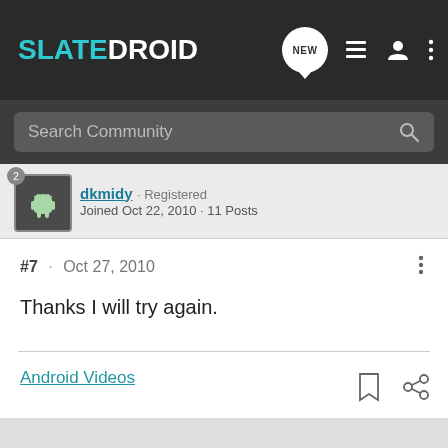SLATEDROID
Search Community
dkmidy · Registered
Joined Oct 22, 2010 · 11 Posts
#7 · Oct 27, 2010
Thanks I will try again.
Android Videos